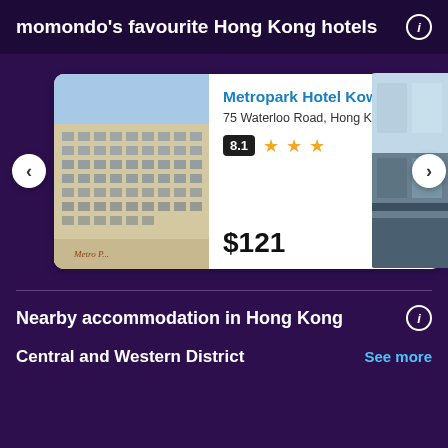momondo's favourite Hong Kong hotels
[Figure (screenshot): Hotel card carousel showing Metropark Hotel Kowloon with photo, address, rating 8.1, 3 stars, price $121. Partial view of another hotel card on the right.]
Nearby accommodation in Hong Kong
Central and Western District
See more